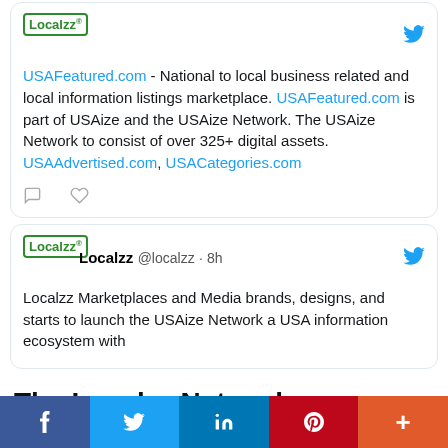[Figure (screenshot): Tweet card 1 from Localzz account about USAFeatured.com - National to local business related and local information listings marketplace. USAFeatured.com is part of USAize and the USAize Network. The USAize Network to consist of over 325+ digital assets. USAAdvertised.com, USACategories.com]
[Figure (screenshot): Tweet card 2 from Localzz @localzz 8h - Localzz Marketplaces and Media brands, designs, and starts to launch the USAize Network a USA information ecosystem with a portfolio of over 325+ digital assets.]
The Localzz Network promotes, advertises, and markets as or with:
[Figure (infographic): Social media share bar with Facebook, Twitter, LinkedIn, Pinterest, and More buttons]